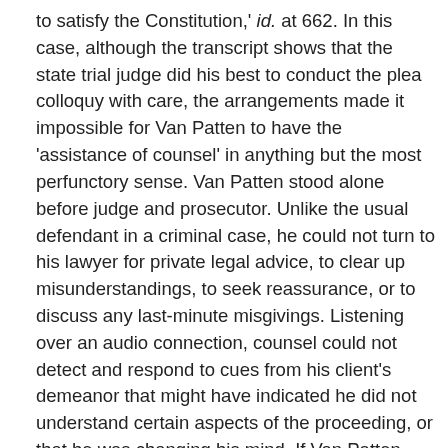to satisfy the Constitution,' id. at 662. In this case, although the transcript shows that the state trial judge did his best to conduct the plea colloquy with care, the arrangements made it impossible for Van Patten to have the 'assistance of counsel' in anything but the most perfunctory sense. Van Patten stood alone before judge and prosecutor. Unlike the usual defendant in a criminal case, he could not turn to his lawyer for private legal advice, to clear up misunderstandings, to seek reassurance, or to discuss any last-minute misgivings. Listening over an audio connection, counsel could not detect and respond to cues from his client's demeanor that might have indicated he did not understand certain aspects of the proceeding, or that he was changing his mind. If Van Patten wished to converse with his attorney, anyone else in the courtroom could effectively eavesdrop. (We assume the district attorney would balk if he were expected to conduct last-minute consultations with his staff via speakerphone in open court, 'on the record,' with the